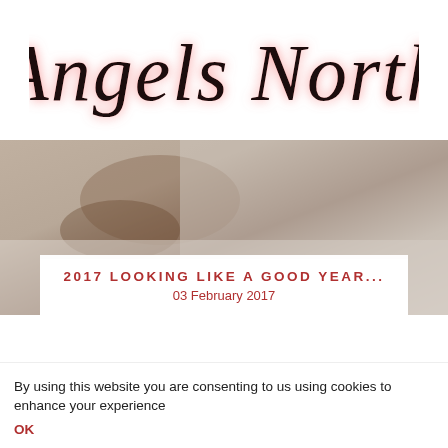[Figure (logo): Angels North cursive italic logo with pink/red glow effect on white background]
[Figure (photo): Woman lying on white bed sheets, editorial/artistic photograph used as hero banner image]
2017 LOOKING LIKE A GOOD YEAR...
03 February 2017
By using this website you are consenting to us using cookies to enhance your experience
OK